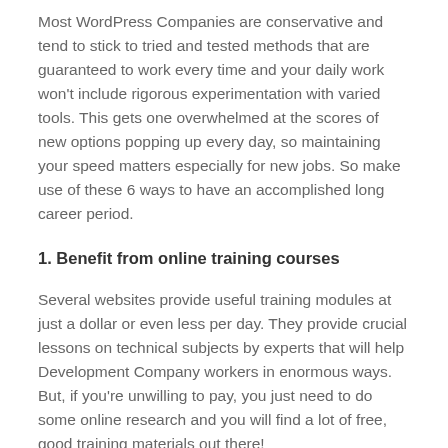Most WordPress Companies are conservative and tend to stick to tried and tested methods that are guaranteed to work every time and your daily work won't include rigorous experimentation with varied tools. This gets one overwhelmed at the scores of new options popping up every day, so maintaining your speed matters especially for new jobs. So make use of these 6 ways to have an accomplished long career period.
1. Benefit from online training courses
Several websites provide useful training modules at just a dollar or even less per day. They provide crucial lessons on technical subjects by experts that will help Development Company workers in enormous ways. But, if you're unwilling to pay, you just need to do some online research and you will find a lot of free, good training materials out there!